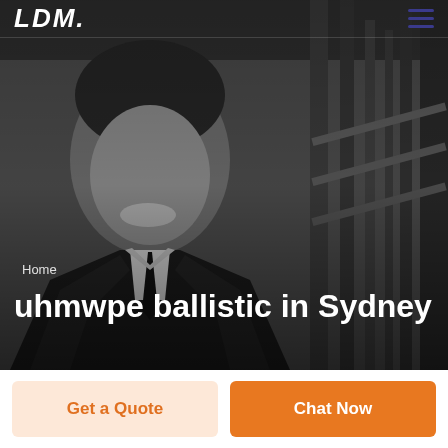LDM
[Figure (photo): Hero section with a smiling man in a business suit (black and white photograph) with an office/industrial background]
Home
uhmwpe ballistic in Sydney
Get a Quote
Chat Now